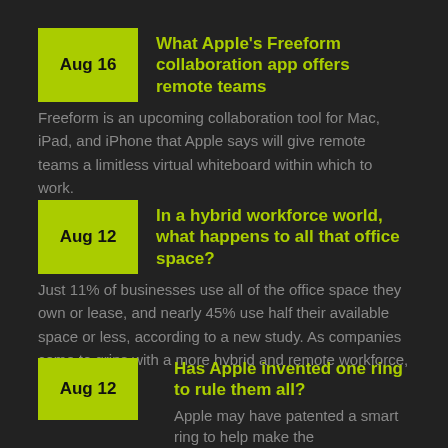What Apple's Freeform collaboration app offers remote teams
Freeform is an upcoming collaboration tool for Mac, iPad, and iPhone that Apple says will give remote teams a limitless virtual whiteboard within which to work.
In a hybrid workforce world, what happens to all that office space?
Just 11% of businesses use all of the office space they own or lease, and nearly 45% use half their available space or less, according to a new study. As companies come to grips with a more hybrid and remote workforce, their office...
Has Apple invented one ring to rule them all?
Apple may have patented a smart ring to help make the multiverse a productive space.